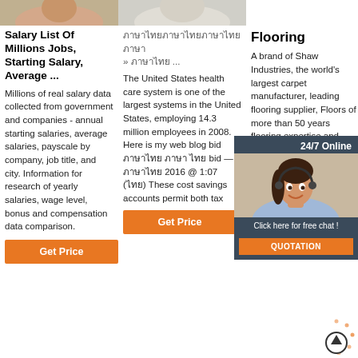[Figure (photo): Top image strip showing partial photo (person) in col1 and partial photo in col2]
Salary List Of Millions Jobs, Starting Salary, Average ...
Millions of real salary data collected from government and companies - annual starting salaries, average salaries, payscale by company, job title, and city. Information for research of yearly salaries, wage level, bonus and compensation data comparison.
Get Price
ภาษาไทย » ภาษาไทย ...
The United States health care system is one of the largest systems in the United States, employing 14.3 million employees in 2008. Here is my web blog bid ภาษาไทย ภาษา ไทย bid — 3 ภาษาไทย 2016 @ 1:07 (ไทย) These cost savings accounts permit both tax
Get Price
Flooring
A brand of Shaw Industries, the world's largest carpet manufacturer, leading flooring supplier, Floors of more than 50 years flooring expertise and experience. We offer hardwood, laminate, vinyl, tile flooring and solutions for real life and real homes.
Get Price
[Figure (photo): 24/7 Online chat widget with woman wearing headset, dark background, with 'Click here for free chat!' and orange QUOTATION button]